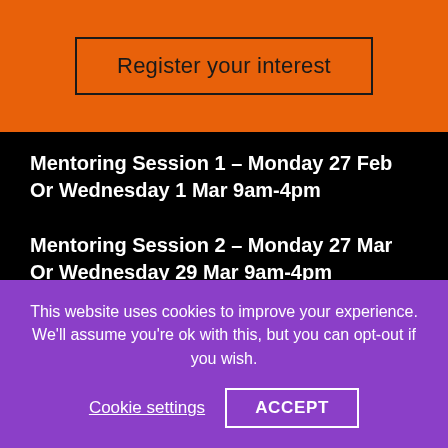Register your interest
Mentoring Session 1 – Monday 27 Feb Or Wednesday 1 Mar 9am-4pm
Mentoring Session 2 – Monday 27 Mar Or Wednesday 29 Mar 9am-4pm
Mentoring Session 3 – Monday 17 Apr Or Wednesday 19 April 9am-4pm
3. Presentations: Final action learning project presentations will take place on 3 May and 5 May 2023.
This website uses cookies to improve your experience. We'll assume you're ok with this, but you can opt-out if you wish.
Cookie settings   ACCEPT